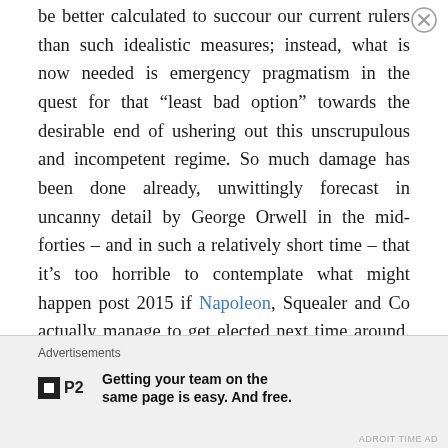be better calculated to succour our current rulers than such idealistic measures; instead, what is now needed is emergency pragmatism in the quest for that “least bad option” towards the desirable end of ushering out this unscrupulous and incompetent regime. So much damage has been done already, unwittingly forecast in uncanny detail by George Orwell in the mid-forties – and in such a relatively short time – that it’s too horrible to contemplate what might happen post 2015 if Napoleon, Squealer and Co actually manage to get elected next time around. More Workfare, more poverty for those at the bottom, more ostentatiously obscene wealth for those at the top – that could be the least of it.
[Figure (other): Close/dismiss button (X in circle) for advertisement]
Advertisements
[Figure (logo): P2 logo: small black square with white square inside, followed by bold text 'P2']
Getting your team on the same page is easy. And free.
ADROIT TIME AD